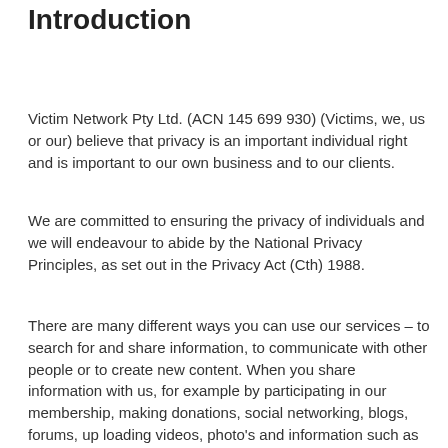Introduction
Victim Network Pty Ltd. (ACN 145 699 930) (Victims, we, us or our) believe that privacy is an important individual right and is important to our own business and to our clients.
We are committed to ensuring the privacy of individuals and we will endeavour to abide by the National Privacy Principles, as set out in the Privacy Act (Cth) 1988.
There are many different ways you can use our services – to search for and share information, to communicate with other people or to create new content. When you share information with us, for example by participating in our membership, making donations, social networking, blogs, forums, up loading videos, photo's and information such as adding content to our tell your stories page, volunteering to contribute content information to our website and newsletters we can make those services even better – to show you more relevant search results and ads, to help you connect with people or to